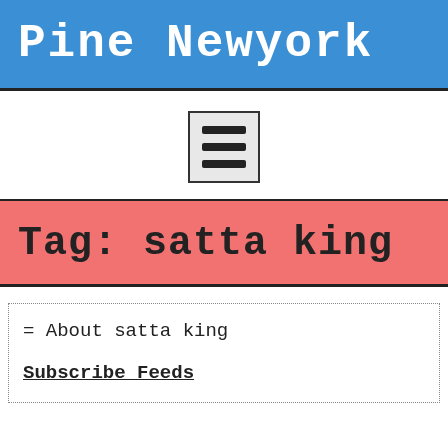Pine  Newyork
[Figure (other): Hamburger menu icon inside a bordered box]
Tag:  satta king
= About satta king
Subscribe Feeds